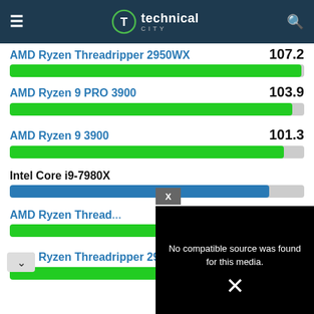[Figure (screenshot): Technical.city website header with hamburger menu, logo (T in circle), site name 'technical CITY', and search icon on dark navy background]
AMD Ryzen Threadripper 2950WX — 107.2 (partially visible, cropped at top)
AMD Ryzen 9 PRO 3900 — 103.9
AMD Ryzen 9 3900 — 101.3
Intel Core i9-7980X — (score partially hidden by video overlay)
AMD Ryzen Threadripper (partially hidden) — score hidden
AMD Ryzen Threadripper 2950X — 98.2
[Figure (screenshot): Video player overlay showing black background with text 'No compatible source was found for this media.' and an X icon. A close button with X is shown above the player.]